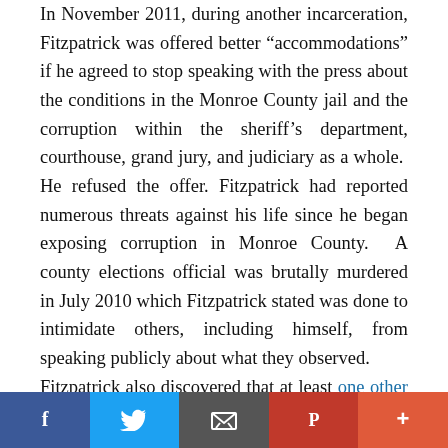In November 2011, during another incarceration, Fitzpatrick was offered better “accommodations” if he agreed to stop speaking with the press about the conditions in the Monroe County jail and the corruption within the sheriff’s department, courthouse, grand jury, and judiciary as a whole. He refused the offer. Fitzpatrick had reported numerous threats against his life since he began exposing corruption in Monroe County. A county elections official was brutally murdered in July 2010 which Fitzpatrick stated was done to intimidate others, including himself, from speaking publicly about what they observed.
Fitzpatrick also discovered that at least one other juror, in addition to the foreman, who participated in issuing
Facebook | Twitter | Email | Pinterest | +